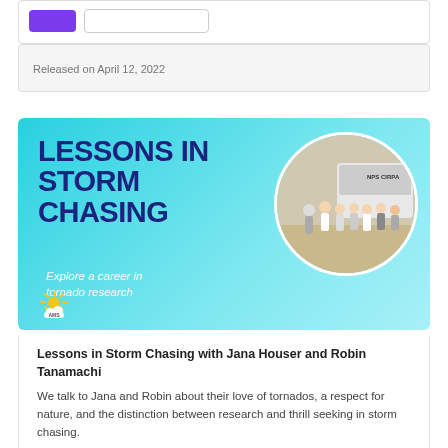[Figure (screenshot): Top card with purple and outline buttons]
Released on April 12, 2022
[Figure (illustration): Lessons in Storm Chasing podcast banner with blue gradient background, bold dark blue title text 'LESSONS IN STORM CHASING', italic subtitle 'Explore a career in tornado research', AMS sun logo, and circular photo of storm chasing team next to a van labeled NPS CIRPA]
Lessons in Storm Chasing with Jana Houser and Robin Tanamachi
We talk to Jana and Robin about their love of tornados, a respect for nature, and the distinction between research and thrill seeking in storm chasing.
Episode Transcript